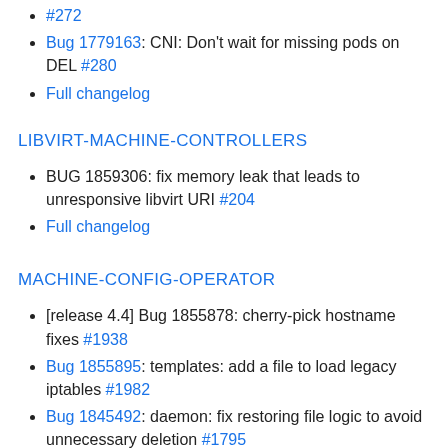#272
Bug 1779163: CNI: Don't wait for missing pods on DEL #280
Full changelog
LIBVIRT-MACHINE-CONTROLLERS
BUG 1859306: fix memory leak that leads to unresponsive libvirt URI #204
Full changelog
MACHINE-CONFIG-OPERATOR
[release 4.4] Bug 1855878: cherry-pick hostname fixes #1938
Bug 1855895: templates: add a file to load legacy iptables #1982
Bug 1845492: daemon: fix restoring file logic to avoid unnecessary deletion #1795